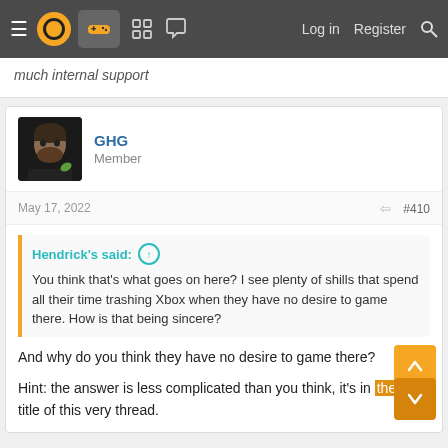≡  [logo]  [controller]  [grid]  [chat]    Log in   Register   [search]
much internal support
GHG
Member
May 17, 2022   #410
Hendrick's said: ↑
You think that's what goes on here? I see plenty of shills that spend all their time trashing Xbox when they have no desire to game there. How is that being sincere?
And why do you think they have no desire to game there?
Hint: the answer is less complicated than you think, it's in the title of this very thread.